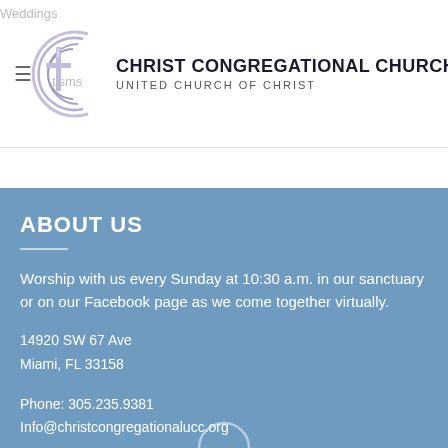Christ Congregational Church - United Church of Christ
[Figure (logo): Christ Congregational Church logo: circular C with cross, purple/lavender tones]
ABOUT US
Worship with us every Sunday at 10:30 a.m. in our sanctuary or on our Facebook page as we come together virtually.
14920 SW 67 Ave
Miami, FL 33158
Phone: 305.235.9381
Info@christcongregationalucc.org